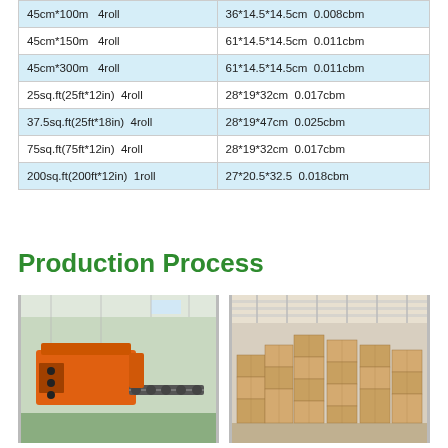| Specification | Qty | Carton Size | CBM |
| --- | --- | --- | --- |
| 45cm*100m | 4roll | 36*14.5*14.5cm | 0.008cbm |
| 45cm*150m | 4roll | 61*14.5*14.5cm | 0.011cbm |
| 45cm*300m | 4roll | 61*14.5*14.5cm | 0.011cbm |
| 25sq.ft(25ft*12in) | 4roll | 28*19*32cm | 0.017cbm |
| 37.5sq.ft(25ft*18in) | 4roll | 28*19*47cm | 0.025cbm |
| 75sq.ft(75ft*12in) | 4roll | 28*19*32cm | 0.017cbm |
| 200sq.ft(200ft*12in) | 1roll | 27*20.5*32.5 | 0.018cbm |
Production Process
[Figure (photo): Factory floor with orange automated machinery and conveyor system]
[Figure (photo): Warehouse filled with stacked cardboard boxes on pallets]